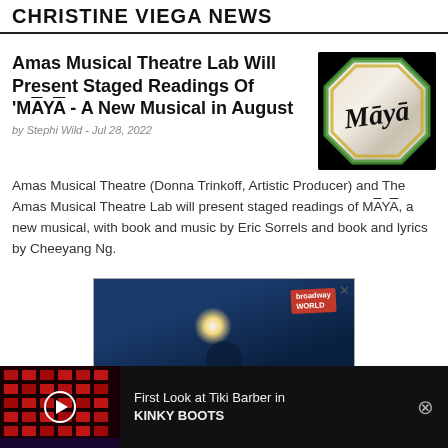CHRISTINE VIEGA NEWS
Amas Musical Theatre Lab Will Present Staged Readings Of 'MĀYĀ - A New Musical in August
by Stephi Wild - Jul 28, 2022
[Figure (illustration): MĀYĀ musical logo: stylized handwritten 'Māyā' text on black background inside an octagonal shape with green and gold ring border]
Amas Musical Theatre (Donna Trinkoff, Artistic Producer) and The Amas Musical Theatre Lab will present staged readings of MĀYĀ, a new musical, with book and music by Eric Sorrels and book and lyrics by Cheeyang Ng.
[Figure (photo): Advertisement banner showing a person on stage in spotlight with Broadway World logo badge]
[Figure (photo): Video thumbnail of stage set with red grid pattern. Title: First Look at Tiki Barber in KINKY BOOTS]
First Look at Tiki Barber in KINKY BOOTS